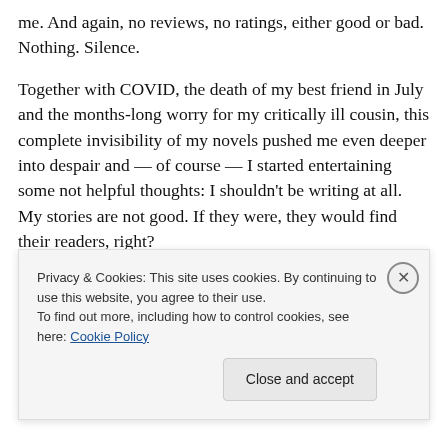me. And again, no reviews, no ratings, either good or bad. Nothing. Silence.
Together with COVID, the death of my best friend in July and the months-long worry for my critically ill cousin, this complete invisibility of my novels pushed me even deeper into despair and — of course — I started entertaining some not helpful thoughts: I shouldn't be writing at all. My stories are not good. If they were, they would find their readers, right?
This way of thinking won't make me sit in front of my
Privacy & Cookies: This site uses cookies. By continuing to use this website, you agree to their use.
To find out more, including how to control cookies, see here: Cookie Policy